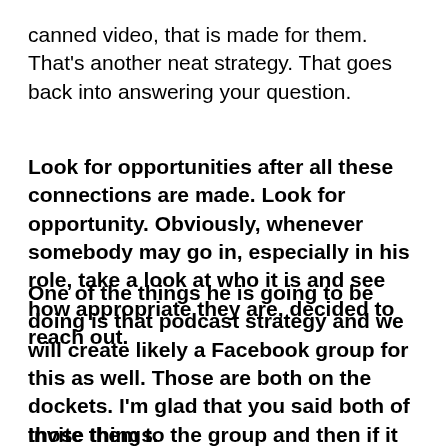canned video, that is made for them. That's another neat strategy. That goes back into answering your question.
Look for opportunities after all these connections are made. Look for opportunity. Obviously, whenever somebody may go in, especially in his role, take a look at who it is and see how appropriate they are, decided to reach out.
One of the things he is going to be doing is that podcast strategy and we will create likely a Facebook group for this as well. Those are both on the dockets. I'm glad that you said both of those things.
Invite them to the group and then if it makes sense, invite them to the podcast as well. As he